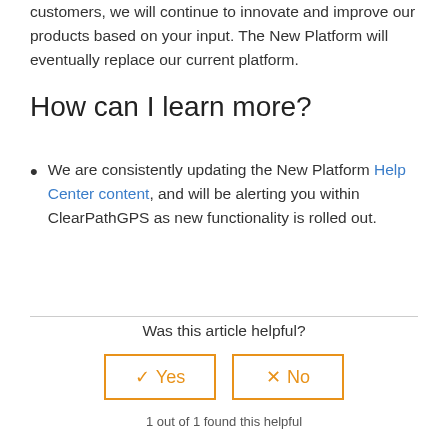customers, we will continue to innovate and improve our products based on your input. The New Platform will eventually replace our current platform.
How can I learn more?
We are consistently updating the New Platform Help Center content, and will be alerting you within ClearPathGPS as new functionality is rolled out.
Was this article helpful?
✓ Yes | × No
1 out of 1 found this helpful